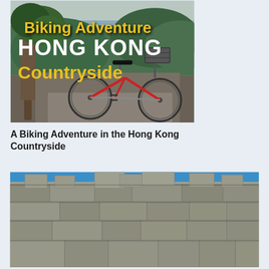[Figure (photo): Book cover photo showing a bicycle parked by a tree with coastal scenery, hills, and water in the background. Yellow and white bold text overlay reads 'Biking Adventure HONG KONG Countryside'.]
A Biking Adventure in the Hong Kong Countryside
[Figure (photo): Close-up photo of an old stone/brick wall structure with stepped battlements against a bright blue sky.]